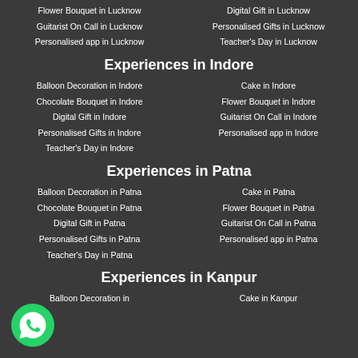Flower Bouquet in Lucknow
Digital Gift in Lucknow
Guitarist On Call in Lucknow
Personalised Gifts in Lucknow
Personalised app in Lucknow
Teacher's Day in Lucknow
Experiences in Indore
Balloon Decoration in Indore
Cake in Indore
Chocolate Bouquet in Indore
Flower Bouquet in Indore
Digital Gift in Indore
Guitarist On Call in Indore
Personalised Gifts in Indore
Personalised app in Indore
Teacher's Day in Indore
Experiences in Patna
Balloon Decoration in Patna
Cake in Patna
Chocolate Bouquet in Patna
Flower Bouquet in Patna
Digital Gift in Patna
Guitarist On Call in Patna
Personalised Gifts in Patna
Personalised app in Patna
Teacher's Day in Patna
Experiences in Kanpur
Balloon Decoration in
Cake in Kanpur